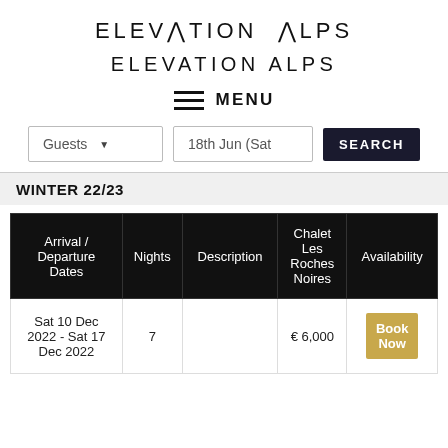ELEVATION ALPS
≡ MENU
Guests  ▾   18th Jun (Sat   SEARCH
WINTER 22/23
| Arrival / Departure Dates | Nights | Description | Chalet Les Roches Noires | Availability |
| --- | --- | --- | --- | --- |
| Sat 10 Dec 2022 - Sat 17 Dec 2022 | 7 |  | € 6,000 | Book Now |